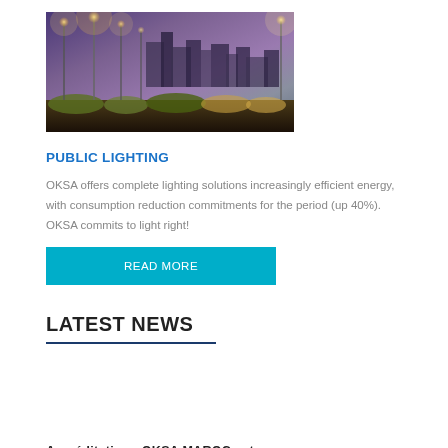[Figure (photo): Night cityscape with public street lighting poles and lamp posts illuminated against a purple/dusk sky, with city buildings in background and flowering plants/bushes at the bottom.]
PUBLIC LIGHTING
OKSA offers complete lighting solutions increasingly efficient energy, with consumption reduction commitments for the period (up 40%). OKSA commits to light right!
READ MORE
LATEST NEWS
Accréditation : OKSA MAROC est